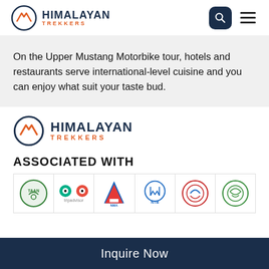[Figure (logo): Himalayan Trekkers logo in header navigation with search and hamburger icons]
On the Upper Mustang Motorbike tour, hotels and restaurants serve international-level cuisine and you can enjoy what suit your taste bud.
[Figure (logo): Himalayan Trekkers logo in footer area]
ASSOCIATED WITH
[Figure (logo): Row of association logos: TAAN, TripAdvisor, NMA, NTB, and two other association logos]
Inquire Now